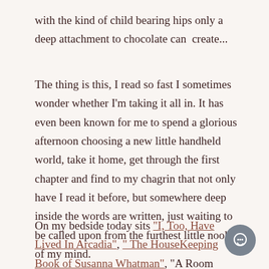with the kind of child bearing hips only a deep attachment to chocolate can  create...
The thing is this, I read so fast I sometimes wonder whether I'm taking it all in. It has even been known for me to spend a glorious afternoon choosing a new little handheld world, take it home, get through the first chapter and find to my chagrin that not only have I read it before, but somewhere deep inside the words are written, just waiting to be called upon from the furthest little nooks of my mind.
On my bedside today sits "I, Too, Have Lived In Arcadia", " The HouseKeeping Book of Susanna Whatman", "A Room With A View",  "Toxic Children",